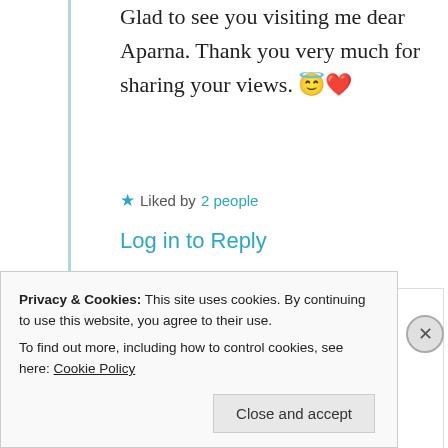Glad to see you visiting me dear Aparna. Thank you very much for sharing your views. 😇❤️
★ Liked by 2 people
Log in to Reply
[Figure (photo): Avatar of commenter Aparna — circular profile photo of a woman with glasses]
Aparna
25th Jun 2021 at 7:12 pm
Privacy & Cookies: This site uses cookies. By continuing to use this website, you agree to their use.
To find out more, including how to control cookies, see here: Cookie Policy
Close and accept